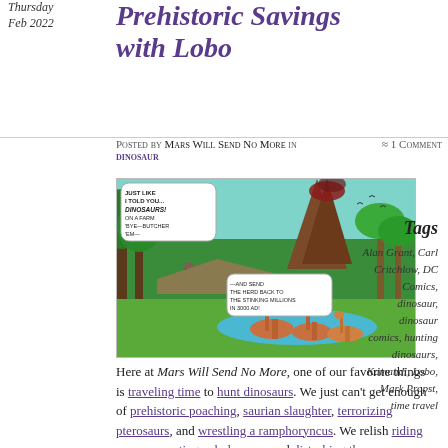Thursday
Feb 2022
Prehistoric Savings with Lobo
Posted by Mars Will Send No More in ≈ 1 Comment
dinosaur
[Figure (illustration): Comic panel showing dinosaurs in a prehistoric jungle scene with volcano, speech bubbles reading 'JUST LIKE I TOLD YOU... DINOSAURS! ON A FARM 'BYE—BUTCHER 'EM—' and '—AND SEND THE HERD BACK TO THE STINKING MILLIONS IN 3000 AD!']
Here at Mars Will Send No More, one of our favorite things is traveling time to hunt dinosaurs. We just can't get enough of prehistoric poaching, saurian slaughter, terrorizing pterosaurs, and wrestling a ramphoryncus. We relish riding rexes, accosting ankylosaurs, and disturbing the dimetrodons. It's just what we do.
Tags
Alan Grant, Carl Critchlow, DC Comics, dinosaur, dinosaur comics, hunting dinosaurs, Kamandi, Lobo, Mark Propst, time travel